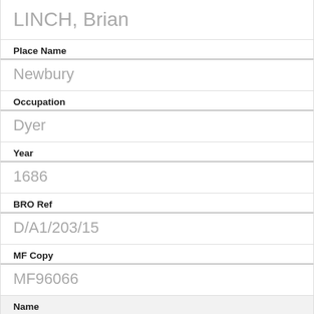LINCH, Brian
Place Name
Newbury
Occupation
Dyer
Year
1686
BRO Ref
D/A1/203/15
MF Copy
MF96066
Name
LINCH, Henry